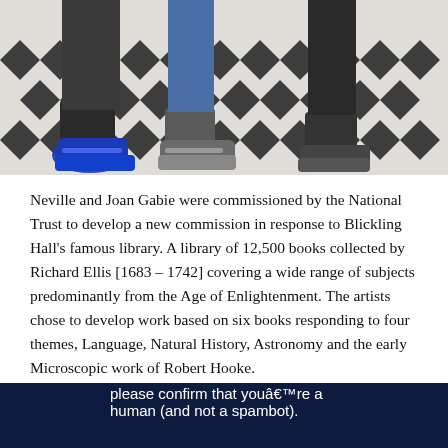[Figure (photo): Photo of children's feet and legs on a black and white patterned rug/carpet, showing colorful sneakers and boots]
Neville and Joan Gabie were commissioned by the National Trust to develop a new commission in response to Blickling Hall's famous library. A library of 12,500 books collected by Richard Ellis [1683 – 1742] covering a wide range of subjects predominantly from the Age of Enlightenment. The artists chose to develop work based on six books responding to four themes, Language, Natural History, Astronomy and the early Microscopic work of Robert Hooke.
[Figure (screenshot): CAPTCHA verification widget on dark navy background with text 'please confirm that you're a human (and not a spambot).' and an 'I'm not a robot' reCAPTCHA checkbox]